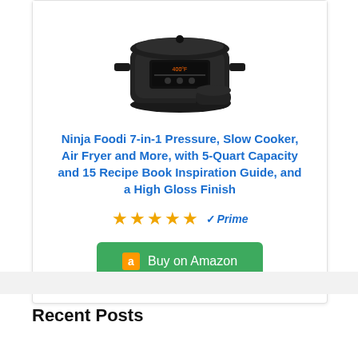[Figure (photo): Ninja Foodi 7-in-1 pressure cooker product photo, black kitchen appliance with digital display and separate air fryer lid]
Ninja Foodi 7-in-1 Pressure, Slow Cooker, Air Fryer and More, with 5-Quart Capacity and 15 Recipe Book Inspiration Guide, and a High Gloss Finish
[Figure (other): 5 gold star rating and Amazon Prime badge]
Buy on Amazon
Recent Posts